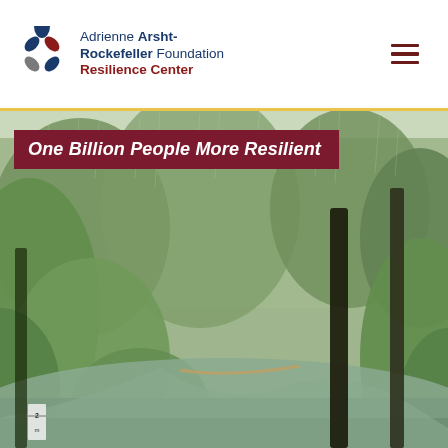Adrienne Arsht-Rockefeller Foundation Resilience Center
One Billion People More Resilient
[Figure (photo): Flooded road surrounded by lush green rainforest trees during heavy rain. A submerged road winds through dense vegetation with tall dark tree trunks visible. A flood depth marker shows '2' near the bottom left.]